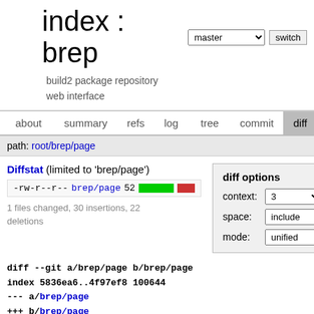index : brep
build2 package repository web interface
about  summary  refs  log  tree  commit  diff
path: root/brep/page
Diffstat (limited to 'brep/page')
-rw-r--r-- brep/page 52
1 files changed, 30 insertions, 22 deletions
diff options
context: 3
space: include
mode: unified
diff --git a/brep/page b/brep/page
index 5836ea6..4f97ef8 100644
--- a/brep/page
+++ b/brep/page
@@ -7,10 +7,13 @@

  #include <xml/forward>